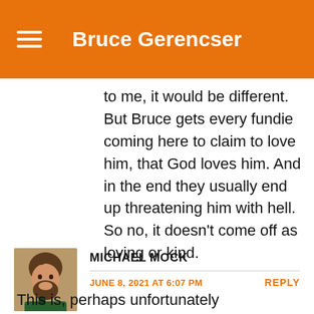Bruce Gerencser
to me, it would be different. But Bruce gets every fundie coming here to claim to love him, that God loves him. And in the end they usually end up threatening him with hell. So no, it doesn't come off as loving or kind.
MICHAEL MOCK
JUNE 8, 2021 AT 6:07 PM
REPLY
This is, perhaps unfortunately